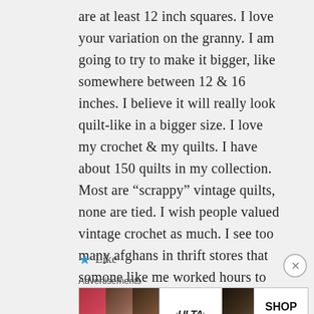are at least 12 inch squares. I love your variation on the granny. I am going to try to make it bigger, like somewhere between 12 & 16 inches. I believe it will really look quilt-like in a bigger size. I love my crochet & my quilts. I have about 150 quilts in my collection. Most are “scrappy” vintage quilts, none are tied. I wish people valued vintage crochet as much. I see too many afghans in thrift stores that somone like me worked hours to make. I know there was a time when yarns, colors & patterns weren’t as sophisticated as today but they were still lots of work.
★ Like
Advertisements
[Figure (other): Ulta Beauty advertisement banner showing makeup imagery — lips, brush, eye, Ulta logo, eyes, SHOP NOW button]